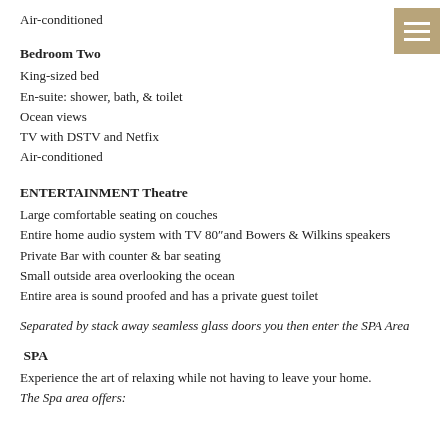Air-conditioned
Bedroom Two
King-sized bed
En-suite: shower, bath, & toilet
Ocean views
TV with DSTV and Netflix
Air-conditioned
ENTERTAINMENT Theatre
Large comfortable seating on couches
Entire home audio system with TV 80″and Bowers & Wilkins speakers
Private Bar with counter & bar seating
Small outside area overlooking the ocean
Entire area is sound proofed and has a private guest toilet
Separated by stack away seamless glass doors you then enter the SPA Area
SPA
Experience the art of relaxing while not having to leave your home.
The Spa area offers: